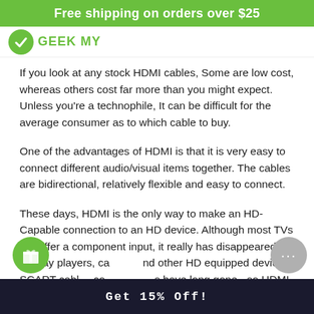Free shipping on orders over $25
[Figure (logo): Green circle logo with brand name in green text]
If you look at any stock HDMI cables, Some are low cost, whereas others cost far more than you might expect. Unless you're a technophile, It can be difficult for the average consumer as to which cable to buy.
One of the advantages of HDMI is that it is very easy to connect different audio/visual items together. The cables are bidirectional, relatively flexible and easy to connect.
These days, HDMI is the only way to make an HD-Capable connection to an HD device. Although most TVs still offer a component input, it really has disappeared on Blu-ray players, cameras and other HD equipped devices. SCART cables connections have long gone - so HDMI cables are needed
Get 15% Off!